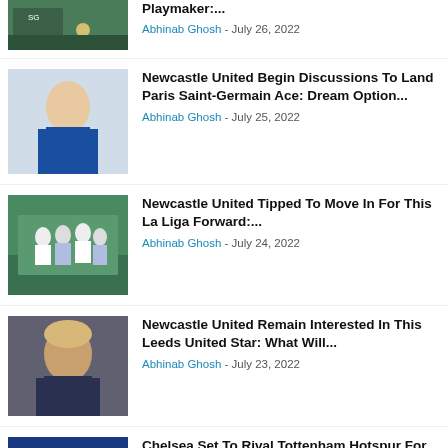[Figure (photo): Soccer player kicking ball on field]
Playmaker:...
Abhinab Ghosh - July 26, 2022
[Figure (photo): Soccer player in blue uniform]
Newcastle United Begin Discussions To Land Paris Saint-Germain Ace: Dream Option...
Abhinab Ghosh - July 25, 2022
[Figure (photo): Soccer players huddling on field]
Newcastle United Tipped To Move In For This La Liga Forward:...
Abhinab Ghosh - July 24, 2022
[Figure (photo): Man with blonde hair looking to the side]
Newcastle United Remain Interested In This Leeds United Star: What Will...
Abhinab Ghosh - July 23, 2022
[Figure (photo): Soccer players in blue jerseys]
Chelsea Set To Rival Tottenham Hotspur For Newcastle United